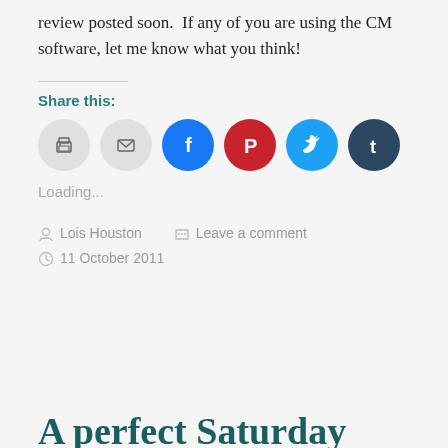review posted soon.  If any of you are using the CM software, let me know what you think!
Share this:
[Figure (infographic): Row of circular social sharing icons: print (gray), email (gray), Facebook (blue), Pinterest (red), Twitter (light blue), Tumblr (dark navy)]
Loading...
Lois Houston   Leave a comment   11 October 2011
A perfect Saturday